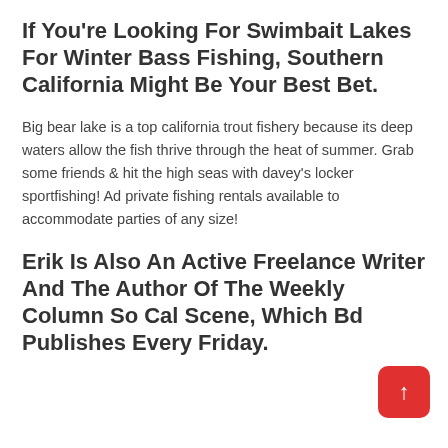If You're Looking For Swimbait Lakes For Winter Bass Fishing, Southern California Might Be Your Best Bet.
Big bear lake is a top california trout fishery because its deep waters allow the fish thrive through the heat of summer. Grab some friends & hit the high seas with davey's locker sportfishing! Ad private fishing rentals available to accommodate parties of any size!
Erik Is Also An Active Freelance Writer And The Author Of The Weekly Column So Cal Scene, Which Bd Publishes Every Friday.